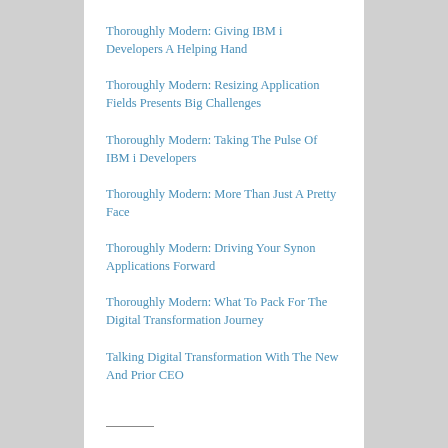Thoroughly Modern: Giving IBM i Developers A Helping Hand
Thoroughly Modern: Resizing Application Fields Presents Big Challenges
Thoroughly Modern: Taking The Pulse Of IBM i Developers
Thoroughly Modern: More Than Just A Pretty Face
Thoroughly Modern: Driving Your Synon Applications Forward
Thoroughly Modern: What To Pack For The Digital Transformation Journey
Talking Digital Transformation With The New And Prior CEO